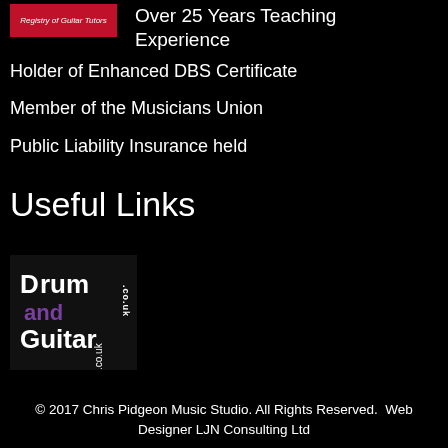[Figure (logo): Red box with 'Registry of Guitar Tutors' text in italic white font]
Over 25 Years Teaching Experience
Holder of Enhanced DBS Certificate
Member of the Musicians Union
Public Liability Insurance held
Useful Links
[Figure (logo): Drum and Guitar .co.uk logo — black background with white and purple text]
© 2017 Chris Pidgeon Music Studio. All Rights Reserved.  Web Designer LJN Consulting Ltd